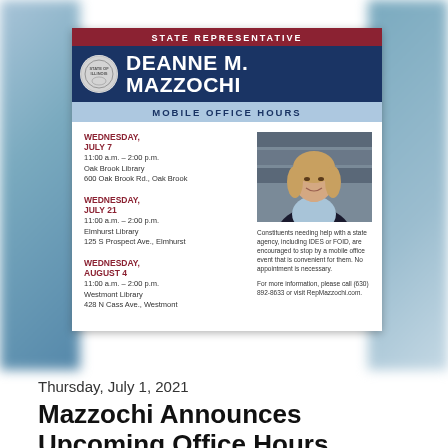[Figure (infographic): Mobile Office Hours flyer for State Representative Deanne M. Mazzochi featuring event dates, times, and locations with a photo of the representative]
Thursday, July 1, 2021
Mazzochi Announces Upcoming Office Hours
State Representative Deanne Mazzochi (R-